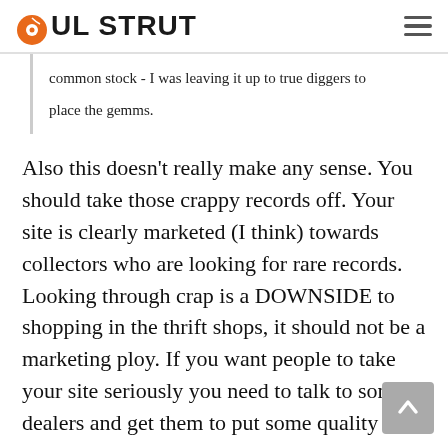SOUL STRUT
common stock - I was leaving it up to true diggers to place the gemms.
Also this doesn't really make any sense. You should take those crappy records off. Your site is clearly marketed (I think) towards collectors who are looking for rare records. Looking through crap is a DOWNSIDE to shopping in the thrift shops, it should not be a marketing ploy. If you want people to take your site seriously you need to talk to some dealers and get them to put some quality stuff up there.